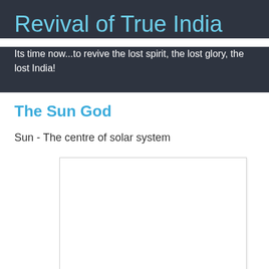Revival of True India
Its time now...to revive the lost spirit, the lost glory, the lost India!
The Sun God
Sun - The centre of solar system
[Figure (photo): White/blank image placeholder with light gray border]